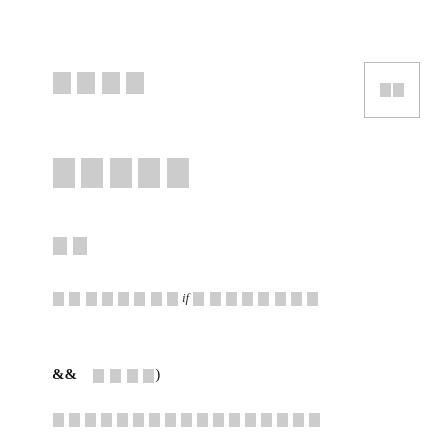□□□□
[Figure (other): Small box with two placeholder characters, top-right corner]
□□□□□
□□
□□□□□□□□if□□□□□□□□□
&&  □□□□)
□□□□□□□□□□□□□□□□□